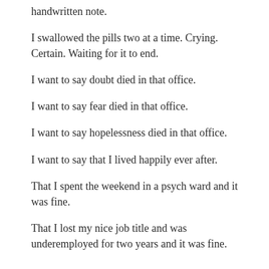handwritten note.
I swallowed the pills two at a time. Crying. Certain. Waiting for it to end.
I want to say doubt died in that office.
I want to say fear died in that office.
I want to say hopelessness died in that office.
I want to say that I lived happily ever after.
That I spent the weekend in a psych ward and it was fine.
That I lost my nice job title and was underemployed for two years and it was fine.